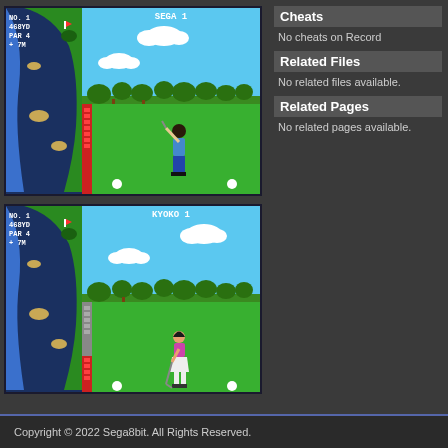[Figure (screenshot): Golf game screenshot showing top-down map on left with course layout and playing view on right with golfer (SEGA 1) mid-swing. HUD shows NO.1, 468YD, PAR 4, +7M.]
Cheats
No cheats on Record
Related Files
No related files available.
Related Pages
No related pages available.
[Figure (screenshot): Golf game screenshot showing top-down map on left with course layout and playing view on right with female golfer (KYOKO 1) putting. HUD shows NO.1, 468YD, PAR 4, +7M.]
Copyright © 2022 Sega8bit. All Rights Reserved.